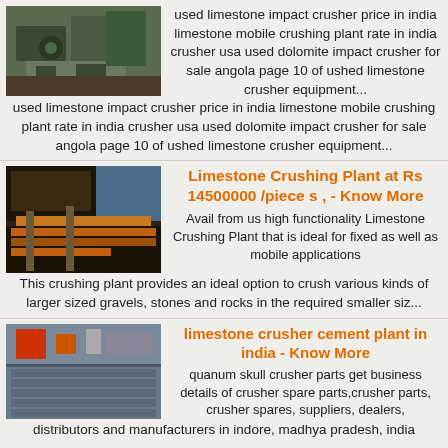[Figure (photo): Industrial crusher machine, green/grey machinery on ground]
used limestone impact crusher price in india limestone mobile crushing plant rate in india crusher usa used dolomite impact crusher for sale angola page 10 of ushed limestone crusher equipment...
[Figure (photo): Limestone crushing plant industrial machinery with orange rock being processed]
Limestone Crushing Plant at Rs 14500000 /piece s , - Know More
Avail from us high functionality Limestone Crushing Plant that is ideal for fixed as well as mobile applications This crushing plant provides an ideal option to crush various kinds of larger sized gravels, stones and rocks in the required smaller siz...
[Figure (photo): Limestone crusher cement plant industrial facility interior]
limestone crusher cement plant in india - Know More
quanum skull crusher parts get business details of crusher spare parts,crusher parts, crusher spares, suppliers, dealers, distributors and manufacturers in indore, madhya pradesh, india